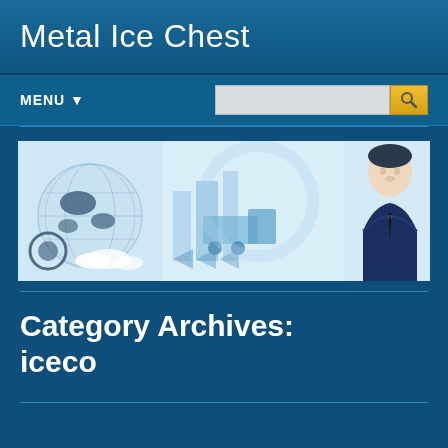Metal Ice Chest
MENU ▼
[Figure (illustration): Website banner image showing a business theme with a globe/world map on the left, abstract blue logistics/transportation graphics in the center (trucks, buildings, arrows), and a cartoon businessman in a suit on the right, all on a light blue background.]
Category Archives: iceco